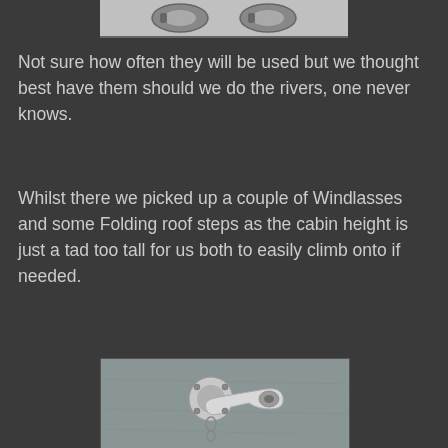[Figure (photo): Partial view of metallic boat hardware/fittings at the top of the page]
Not sure how often they will be used but we thought best have them should we do the rivers, one never knows.
Whilst there we picked up a couple of Windlasses and some Folding roof steps as the cabin height is just a tad too tall for us both to easily climb onto if needed.
[Figure (photo): Close-up photo of a silver/chrome windlass key or folding step hardware mounted on a grey surface]